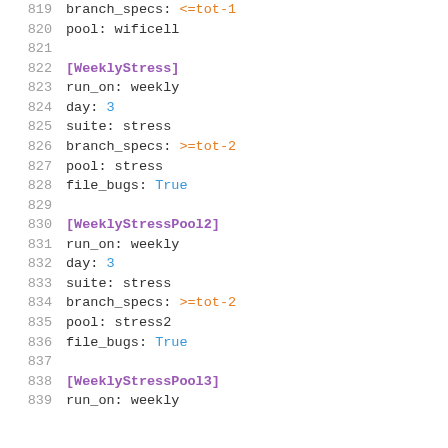819  branch_specs: <=tot-1
820  pool: wificell
821
822  [WeeklyStress]
823  run_on: weekly
824  day: 3
825  suite: stress
826  branch_specs: >=tot-2
827  pool: stress
828  file_bugs: True
829
830  [WeeklyStressPool2]
831  run_on: weekly
832  day: 3
833  suite: stress
834  branch_specs: >=tot-2
835  pool: stress2
836  file_bugs: True
837
838  [WeeklyStressPool3]
839  run_on: weekly